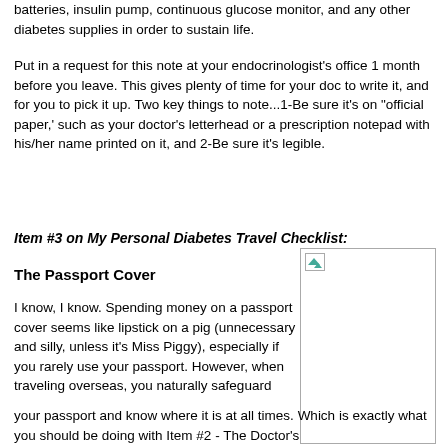batteries, insulin pump, continuous glucose monitor, and any other diabetes supplies in order to sustain life.
Put in a request for this note at your endocrinologist's office 1 month before you leave. This gives plenty of time for your doc to write it, and for you to pick it up. Two key things to note...1-Be sure it's on "official paper,' such as your doctor's letterhead or a prescription notepad with his/her name printed on it, and 2-Be sure it's legible.
Item #3 on My Personal Diabetes Travel Checklist:
The Passport Cover
I know, I know. Spending money on a passport cover seems like lipstick on a pig (unnecessary and silly, unless it's Miss Piggy), especially if you rarely use your passport. However, when traveling overseas, you naturally safeguard your passport and know where it is at all times. Which is exactly what you should be doing with Item #2 - The Doctor's
[Figure (photo): Image placeholder showing a broken/missing image icon]